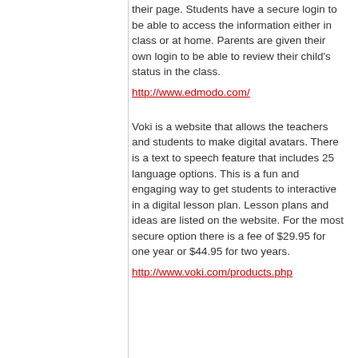their page. Students have a secure login to be able to access the information either in class or at home. Parents are given their own login to be able to review their child's status in the class.
http://www.edmodo.com/
Voki is a website that allows the teachers and students to make digital avatars. There is a text to speech feature that includes 25 language options. This is a fun and engaging way to get students to interactive in a digital lesson plan. Lesson plans and ideas are listed on the website. For the most secure option there is a fee of $29.95 for one year or $44.95 for two years.
http://www.voki.com/products.php